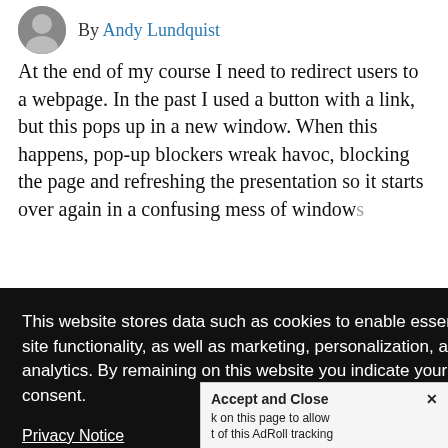By Andy Lundquist
At the end of my course I need to redirect users to a webpage. In the past I used a button with a link, but this pops up in a new window. When this happens, pop-up blockers wreak havoc, blocking the page and refreshing the presentation so it starts over again in a confusing mess of windows.
[Figure (screenshot): Cookie consent popup overlay on black background with close button (X in white circle). Text reads: 'This website stores data such as cookies to enable essential site functionality, as well as marketing, personalization, and analytics. By remaining on this website you indicate your consent.' With a 'Privacy Notice' link at the bottom.]
rent ls described igured out aScript e trick in
Y A b by clicking here. This message only appears once.
Accept and Close ✕ k on this page to allow t of this AdRoll tracking
to have accomplished this actually work for me in IE